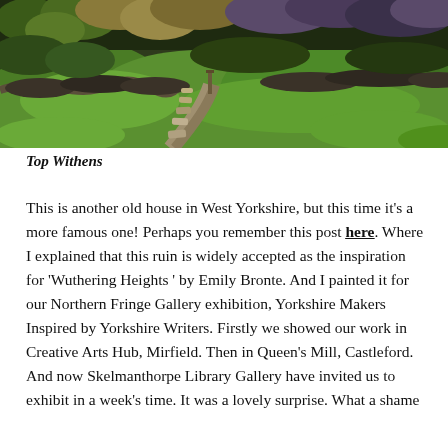[Figure (illustration): Painting of Top Withens: a path of stone slabs winds through green grass and dark stone walls, with lush overgrown vegetation in greens, yellows, and dark tones filling the upper portion.]
Top Withens
This is another old house in West Yorkshire, but this time it's a more famous one! Perhaps you remember this post here. Where I explained that this ruin is widely accepted as the inspiration for 'Wuthering Heights ' by Emily Bronte. And I painted it for our Northern Fringe Gallery exhibition, Yorkshire Makers Inspired by Yorkshire Writers. Firstly we showed our work in Creative Arts Hub, Mirfield. Then in Queen's Mill, Castleford. And now Skelmanthorpe Library Gallery have invited us to exhibit in a week's time. It was a lovely surprise. What a shame